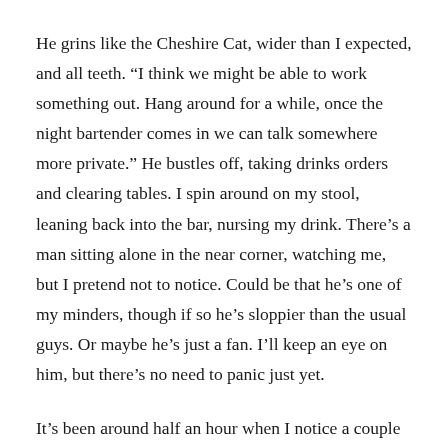He grins like the Cheshire Cat, wider than I expected, and all teeth. “I think we might be able to work something out. Hang around for a while, once the night bartender comes in we can talk somewhere more private.” He bustles off, taking drinks orders and clearing tables. I spin around on my stool, leaning back into the bar, nursing my drink. There’s a man sitting alone in the near corner, watching me, but I pretend not to notice. Could be that he’s one of my minders, though if so he’s sloppier than the usual guys. Or maybe he’s just a fan. I’ll keep an eye on him, but there’s no need to panic just yet.
It’s been around half an hour when I notice a couple of new faces walking in. Based on their tattoos, they’re probably Bloody Hand gangers, which means they’re plain old human. They’re notorious for their hatred for anything